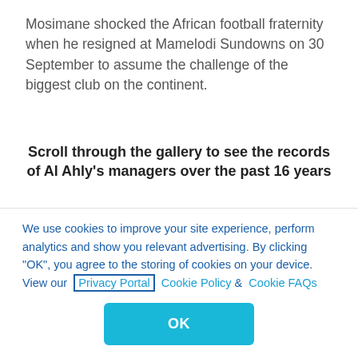Mosimane shocked the African football fraternity when he resigned at Mamelodi Sundowns on 30 September to assume the challenge of the biggest club on the continent.
Scroll through the gallery to see the records of Al Ahly's managers over the past 16 years
Despite the lack of job security at the Club of the Century, the incredible demands of success ingrained in the clubs' history have ensured the
We use cookies to improve your site experience, perform analytics and show you relevant advertising. By clicking "OK", you agree to the storing of cookies on your device. View our Privacy Portal Cookie Policy & Cookie FAQs
OK